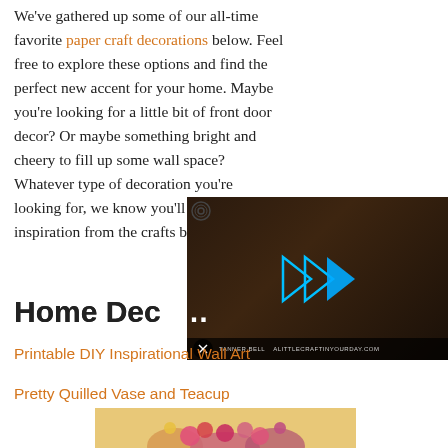We've gathered up some of our all-time favorite paper craft decorations below. Feel free to explore these options and find the perfect new accent for your home. Maybe you're looking for a little bit of front door decor? Or maybe something bright and cheery to fill up some wall space? Whatever type of decoration you're looking for, we know you'll find inspiration from the crafts below!
[Figure (screenshot): Video player overlay showing a person in plaid shirt with play button arrows and mute icon, branded with TANNER BELL and ALITTLECRAFTINYOURDAY.COM]
Home Dec…
Printable DIY Inspirational Wall Art
Pretty Quilled Vase and Teacup
[Figure (photo): Photo of pretty quilled paper vase and teacup with colorful paper flowers on a warm beige background]